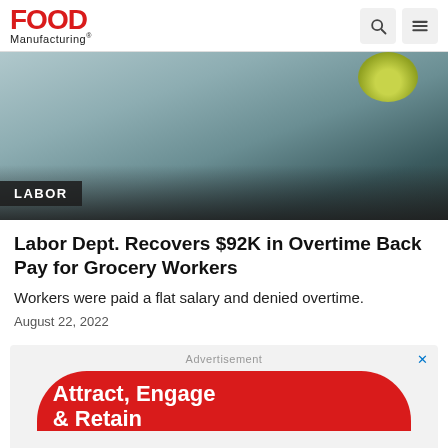Food Manufacturing
[Figure (photo): Close-up photo of a dark reflective surface (kitchen/industrial counter) with a green fruit visible in the upper right, blurred background. 'LABOR' label overlaid at bottom left.]
Labor Dept. Recovers $92K in Overtime Back Pay for Grocery Workers
Workers were paid a flat salary and denied overtime.
August 22, 2022
[Figure (other): Advertisement banner with red rounded background showing text 'Attract, Engage & Retain' in white bold font. Close button (x) visible top right.]